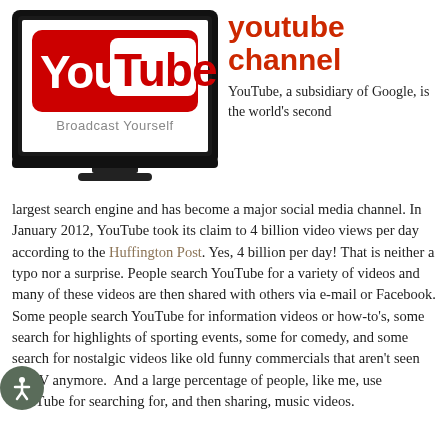[Figure (logo): YouTube logo on a TV/monitor illustration with 'Broadcast Yourself' tagline]
youtube channel
YouTube, a subsidiary of Google, is the world's second largest search engine and has become a major social media channel. In January 2012, YouTube took its claim to 4 billion video views per day according to the Huffington Post. Yes, 4 billion per day! That is neither a typo nor a surprise. People search YouTube for a variety of videos and many of these videos are then shared with others via e-mail or Facebook. Some people search YouTube for information videos or how-to's, some search for highlights of sporting events, some for comedy, and some search for nostalgic videos like old funny commercials that aren't seen on TV anymore. And a large percentage of people, like me, use YouTube for searching for, and then sharing, music videos.